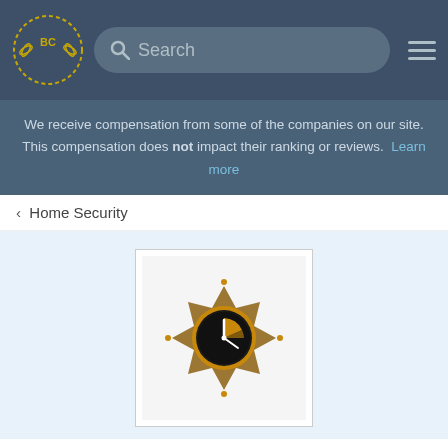BC [logo] Search [hamburger menu]
We receive compensation from some of the companies on our site. This compensation does not impact their ranking or reviews. Learn more
< Home Security
[Figure (logo): Custom Security Systems badge logo — golden ornate badge with clock/pie chart icon in center on light background]
Custom Security Systems
Is This Your Business?
[Figure (other): 5 empty star rating icons (no stars filled)]
0 User Reviews